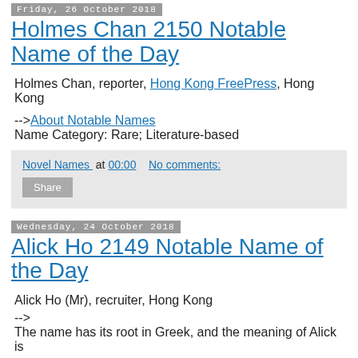Friday, 26 October 2018
Holmes Chan 2150 Notable Name of the Day
Holmes Chan, reporter, Hong Kong FreePress, Hong Kong
-->About Notable Names
Name Category: Rare; Literature-based
Novel Names  at 00:00    No comments:
Share
Wednesday, 24 October 2018
Alick Ho 2149 Notable Name of the Day
Alick Ho (Mr), recruiter, Hong Kong
-->
The name has its root in Greek, and the meaning of Alick is